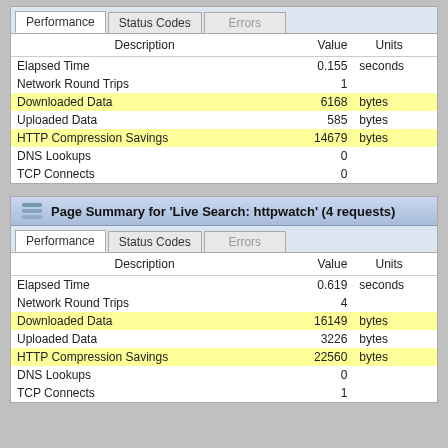| Description | Value | Units |
| --- | --- | --- |
| Elapsed Time | 0.155 | seconds |
| Network Round Trips | 1 |  |
| Downloaded Data | 6168 | bytes |
| Uploaded Data | 585 | bytes |
| HTTP Compression Savings | 14679 | bytes |
| DNS Lookups | 0 |  |
| TCP Connects | 0 |  |
Page Summary for 'Live Search: httpwatch' (4 requests)
| Description | Value | Units |
| --- | --- | --- |
| Elapsed Time | 0.619 | seconds |
| Network Round Trips | 4 |  |
| Downloaded Data | 16149 | bytes |
| Uploaded Data | 3226 | bytes |
| HTTP Compression Savings | 22560 | bytes |
| DNS Lookups | 0 |  |
| TCP Connects | 1 |  |